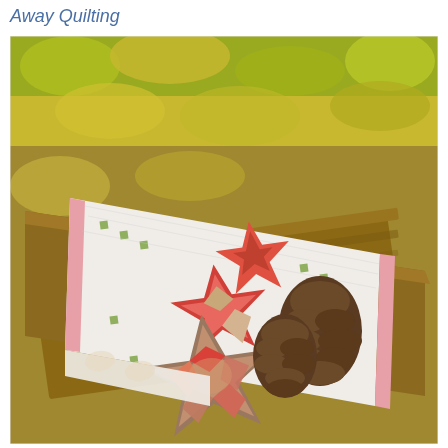Away Quilting
[Figure (photo): A quilted table runner featuring star quilt blocks in red, coral, tan/brown, and green fabrics on a white background, displayed on a wooden surface outdoors surrounded by autumn yellow leaves and pine cones.]